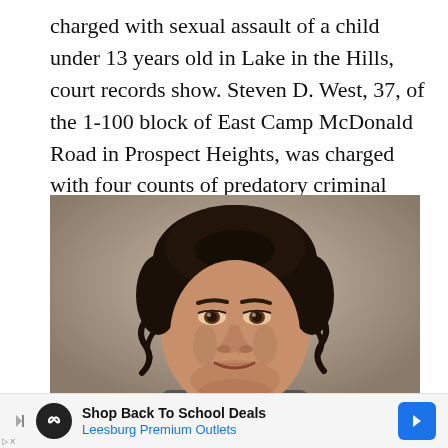charged with sexual assault of a child under 13 years old in Lake in the Hills, court records show. Steven D. West, 37, of the 1-100 block of East Camp McDonald Road in Prospect Heights, was charged with four counts of predatory criminal sexual assault of […]
[Figure (photo): Mugshot photograph of Steven D. West, a man with dark curly hair pulled back, looking at the camera against a neutral beige-gray background.]
Shop Back To School Deals Leesburg Premium Outlets